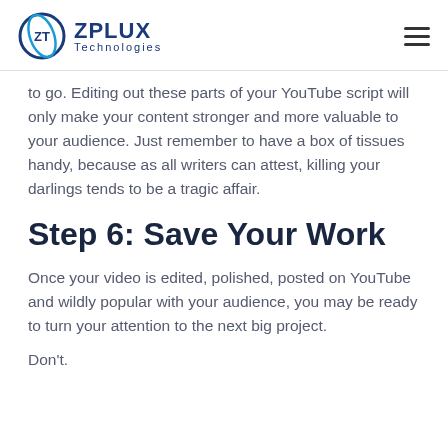ZPLUX Technologies
to go. Editing out these parts of your YouTube script will only make your content stronger and more valuable to your audience. Just remember to have a box of tissues handy, because as all writers can attest, killing your darlings tends to be a tragic affair.
Step 6: Save Your Work
Once your video is edited, polished, posted on YouTube and wildly popular with your audience, you may be ready to turn your attention to the next big project.
Don't.